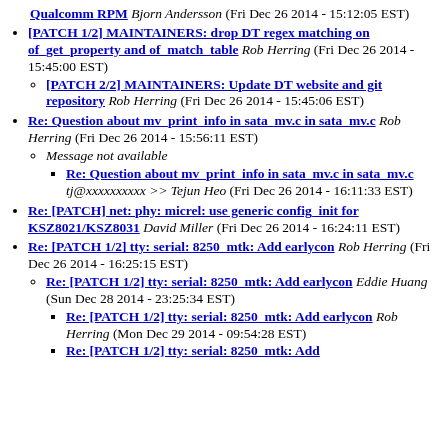Qualcomm RPM Bjorn Andersson (Fri Dec 26 2014 - 15:12:05 EST)
[PATCH 1/2] MAINTAINERS: drop DT regex matching on of_get_property and of_match_table Rob Herring (Fri Dec 26 2014 - 15:45:00 EST)
[PATCH 2/2] MAINTAINERS: Update DT website and git repository Rob Herring (Fri Dec 26 2014 - 15:45:06 EST)
Re: Question about mv_print_info in sata_mv.c in sata_mv.c Rob Herring (Fri Dec 26 2014 - 15:56:11 EST)
Message not available
Re: Question about mv_print_info in sata_mv.c in sata_mv.c tj@xxxxxxxxxx >> Tejun Heo (Fri Dec 26 2014 - 16:11:33 EST)
Re: [PATCH] net: phy: micrel: use generic config_init for KSZ8021/KSZ8031 David Miller (Fri Dec 26 2014 - 16:24:11 EST)
Re: [PATCH 1/2] tty: serial: 8250_mtk: Add earlycon Rob Herring (Fri Dec 26 2014 - 16:25:15 EST)
Re: [PATCH 1/2] tty: serial: 8250_mtk: Add earlycon Eddie Huang (Sun Dec 28 2014 - 23:25:34 EST)
Re: [PATCH 1/2] tty: serial: 8250_mtk: Add earlycon Rob Herring (Mon Dec 29 2014 - 09:54:28 EST)
Re: [PATCH 1/2] tty: serial: 8250_mtk: Add